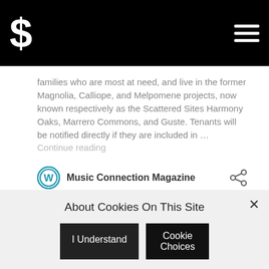$ [logo] [hamburger menu]
families who are most at need, and live in the former Magnolia, Calliope, and Melpomene projects, now known respectively as the Scattered Sites Harmony Oaks, Marrero Commons, and Guste. Tenants will be notified directly if they are included in … Continue reading
Music Connection Magazine
HipHopDX
About Cookies On This Site
I Understand
Cookie Choices